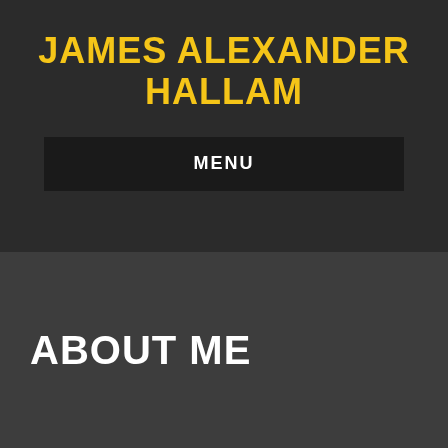JAMES ALEXANDER HALLAM
MENU
ABOUT ME